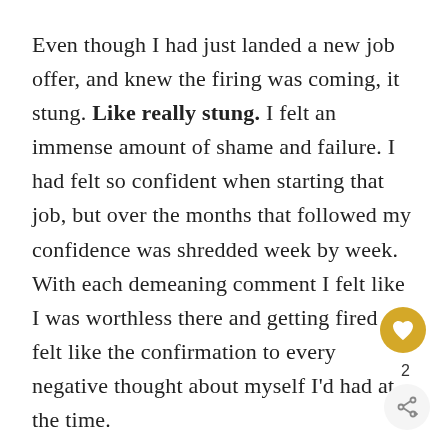Even though I had just landed a new job offer, and knew the firing was coming, it stung. Like really stung. I felt an immense amount of shame and failure. I had felt so confident when starting that job, but over the months that followed my confidence was shredded week by week. With each demeaning comment I felt like I was worthless there and getting fired felt like the confirmation to every negative thought about myself I'd had at the time.